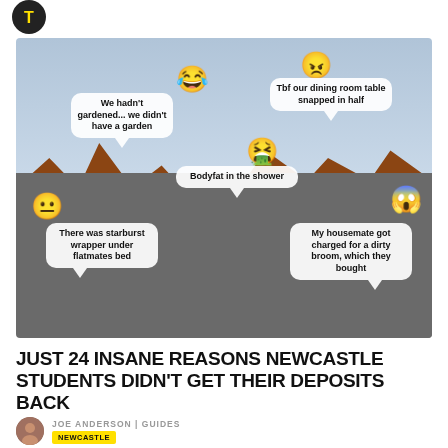[Figure (photo): Aerial/street view photo of Newcastle brick buildings and streets, overlaid with speech bubbles and emoji describing funny reasons students lost their deposits. Bubbles: 'We hadn't gardened... we didn't have a garden', 'Tbf our dining room table snapped in half', 'Bodyfat in the shower', 'There was starburst wrapper under flatmates bed', 'My housemate got charged for a dirty broom, which they bought']
JUST 24 INSANE REASONS NEWCASTLE STUDENTS DIDN'T GET THEIR DEPOSITS BACK
JOE ANDERSON | GUIDES
NEWCASTLE